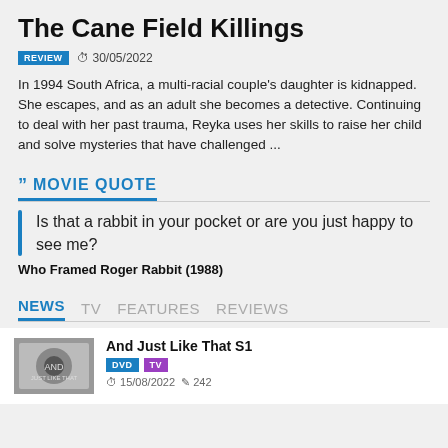The Cane Field Killings
REVIEW  30/05/2022
In 1994 South Africa, a multi-racial couple's daughter is kidnapped. She escapes, and as an adult she becomes a detective. Continuing to deal with her past trauma, Reyka uses her skills to raise her child and solve mysteries that have challenged ...
MOVIE QUOTE
Is that a rabbit in your pocket or are you just happy to see me?
Who Framed Roger Rabbit (1988)
NEWS  TV  FEATURES  REVIEWS
And Just Like That S1
DVD  TV  15/08/2022  242